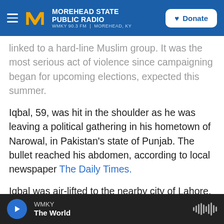MOREHEAD STATE PUBLIC RADIO — WMKY 90.3 FM | MOREHEAD, KY
linked to a hard-line Muslim group. It was the most serious act of violence since campaigning began for upcoming elections, expected this summer.
Iqbal, 59, was hit in the shoulder as he was leaving a political gathering in his hometown of Narowal, in Pakistan's state of Punjab. The bullet reached his abdomen, according to local newspaper The Daily Times.
Iqbal was air-lifted to the nearby city of Lahore, where he was rushed into an intensive care unit. According to the newspaper, Iqbal underwent two
WMKY — The World